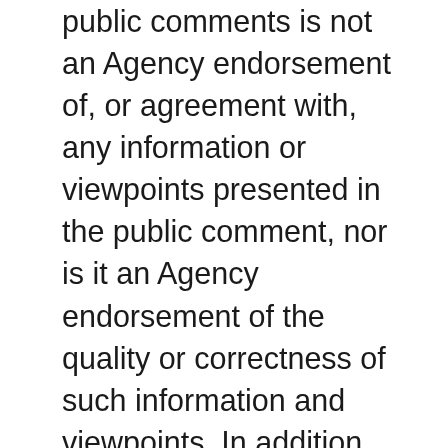public comments is not an Agency endorsement of, or agreement with, any information or viewpoints presented in the public comment, nor is it an Agency endorsement of the quality or correctness of such information and viewpoints. In addition, mention of any trade